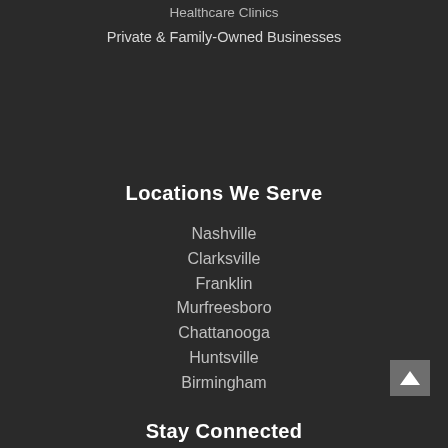Healthcare Clinics
Private & Family-Owned Businesses
Locations We Serve
Nashville
Clarksville
Franklin
Murfreesboro
Chattanooga
Huntsville
Birmingham
Stay Connected